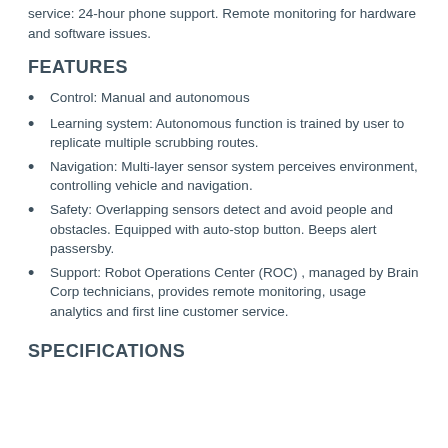service: 24-hour phone support. Remote monitoring for hardware and software issues.
FEATURES
Control: Manual and autonomous
Learning system: Autonomous function is trained by user to replicate multiple scrubbing routes.
Navigation: Multi-layer sensor system perceives environment, controlling vehicle and navigation.
Safety: Overlapping sensors detect and avoid people and obstacles. Equipped with auto-stop button. Beeps alert passersby.
Support: Robot Operations Center (ROC) , managed by Brain Corp technicians, provides remote monitoring, usage analytics and first line customer service.
SPECIFICATIONS